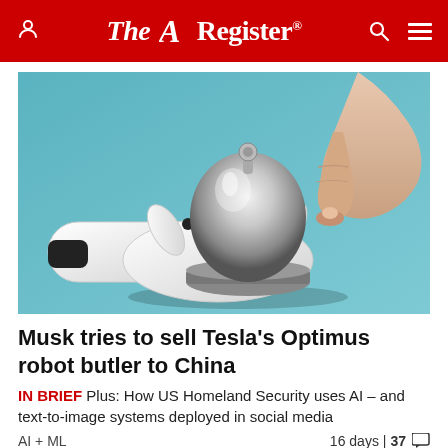The Register
[Figure (photo): A robotic white hand holding a silver hotel service bell, with a human hand pressing down on it from above. The background is teal/blue-green.]
Musk tries to sell Tesla's Optimus robot butler to China
IN BRIEF Plus: How US Homeland Security uses AI – and text-to-image systems deployed in social media
AI + ML   16 days | 37